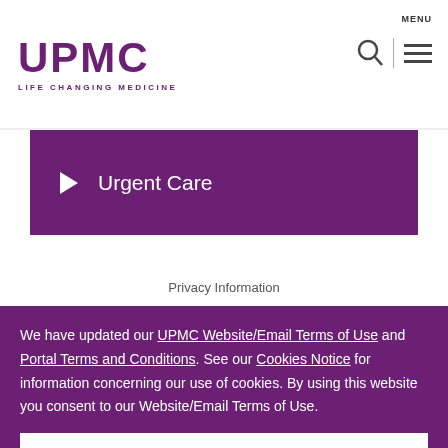UPMC LIFE CHANGING MEDICINE
▶  Urgent Care
Privacy Information
We have updated our UPMC Website/Email Terms of Use and Portal Terms and Conditions. See our Cookies Notice for information concerning our use of cookies. By using this website you consent to our Website/Email Terms of Use.
I Accept